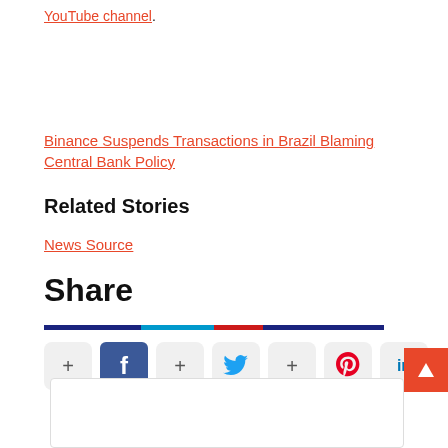YouTube channel.
Binance Suspends Transactions in Brazil Blaming Central Bank Policy
Related Stories
News Source
Share
[Figure (infographic): Social share buttons row: plus, Facebook, plus, Twitter, plus, Pinterest, LinkedIn]
[Figure (infographic): Scroll-to-top arrow button (red)]
[Figure (infographic): Comment section box at bottom]